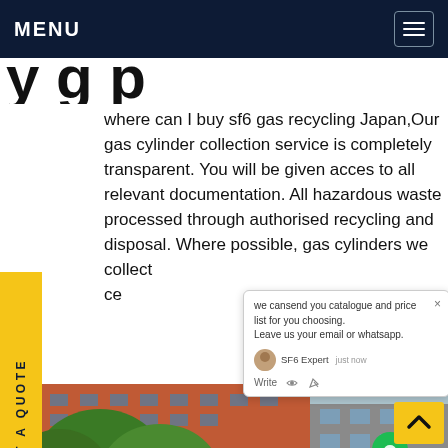MENU
y g p (partial, cropped)
where can I buy sf6 gas recycling Japan,Our gas cylinder collection service is completely transparent. You will be given acces to all relevant documentation. All hazardous waste is processed through authorised recycling and disposal. Where possible, gas cylinders we collect are reused or recycled.
[Figure (screenshot): Chat popup overlay with message: we can send you catalogue and price list for you choosing. Leave us your email or whatsapp. SF6 Expert just now. Write icons visible.]
[Figure (photo): Outdoor photo of a building with brick facade and Chinese characters, surrounded by green trees. Gold decorative structure in the foreground.]
REQUEST A QUOTE (vertical side tab)